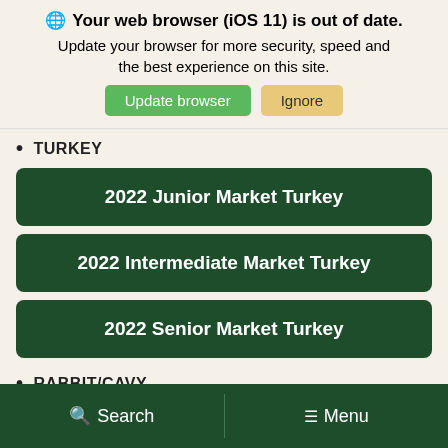🌐 Your web browser (iOS 11) is out of date. Update your browser for more security, speed and the best experience on this site. [Update browser] [Ignore]
TURKEY
2022 Junior Market Turkey
2022 Intermediate Market Turkey
2022 Senior Market Turkey
RABBIT/CAVY
2020 Junior Rabbit
2020 Intermediate Rabbit
Search   Menu